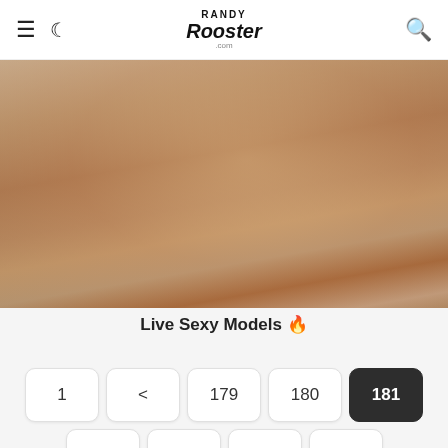Randy Rooster — navigation header with hamburger menu, dark mode toggle, logo, and search icon
[Figure (photo): Close-up photo used as banner image on the webpage]
Live Sexy Models 🔥
1  <  179  180  181  182  183  >  1058 — pagination controls, current page 181